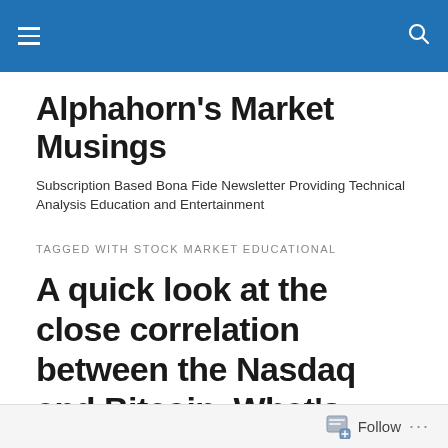Alphahorn's Market Musings
Subscription Based Bona Fide Newsletter Providing Technical Analysis Education and Entertainment
TAGGED WITH STOCK MARKET EDUCATIONAL
A quick look at the close correlation between the Nasdaq and Bitcoin. What’s next for the risk trade?
Follow